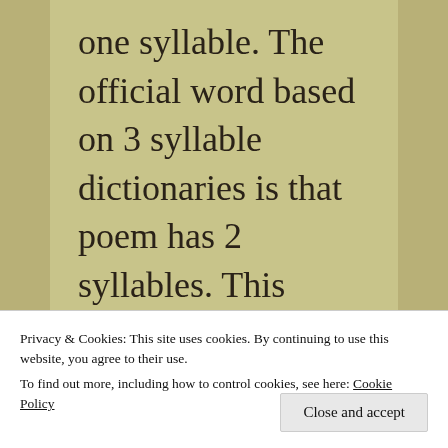one syllable. The official word based on 3 syllable dictionaries is that poem has 2 syllables. This brings us to such an important lesson about how critical it
Privacy & Cookies: This site uses cookies. By continuing to use this website, you agree to their use.
To find out more, including how to control cookies, see here: Cookie Policy
that could be controversial